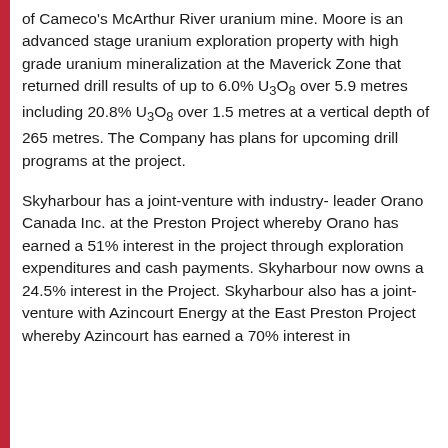of Cameco's McArthur River uranium mine. Moore is an advanced stage uranium exploration property with high grade uranium mineralization at the Maverick Zone that returned drill results of up to 6.0% U3O8 over 5.9 metres including 20.8% U3O8 over 1.5 metres at a vertical depth of 265 metres. The Company has plans for upcoming drill programs at the project.
Skyharbour has a joint-venture with industry-leader Orano Canada Inc. at the Preston Project whereby Orano has earned a 51% interest in the project through exploration expenditures and cash payments. Skyharbour now owns a 24.5% interest in the Project. Skyharbour also has a joint-venture with Azincourt Energy at the East Preston Project whereby Azincourt has earned a 70% interest in